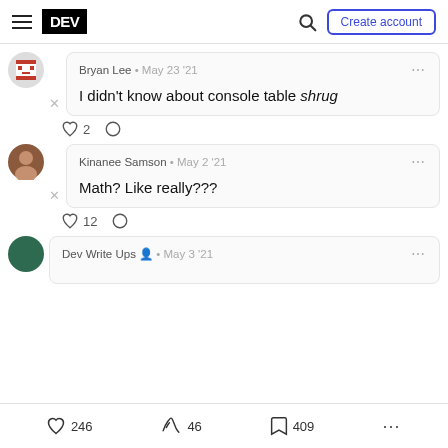DEV — Create account
Bryan Lee • May 23 '21
I didn't know about console table shrug
♡ 2  ○
Kinanee Samson • May 2 '21
Math? Like really???
♡ 12  ○
Dev Write Ups • May 3 '21
♡ 246   46   409  ...